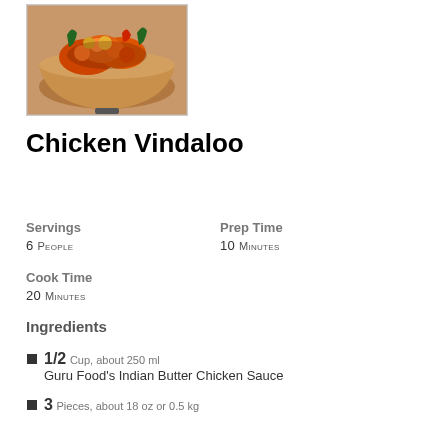[Figure (photo): A bowl of Chicken Vindaloo - Indian spicy chicken dish in a copper/bronze bowl with chili peppers and green herbs on top]
Chicken Vindaloo
Servings
6 People
Prep Time
10 Minutes
Cook Time
20 Minutes
Ingredients
1/2 Cup, about 250 ml
Guru Food's Indian Butter Chicken Sauce
3 Pieces, about 18 oz or 0.5 kg